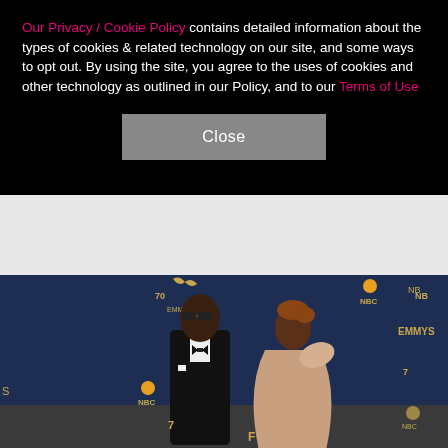Our Privacy / Cookie Policy contains detailed information about the types of cookies & related technology on our site, and some ways to opt out. By using the site, you agree to the uses of cookies and other technology as outlined in our Policy, and to our Terms of Use
[Figure (other): Close button for cookie/privacy policy overlay on a dark black background]
[Figure (photo): Two people posing at the 70th Emmy Awards red carpet event, in front of a blue backdrop with NBC, EMMYS, and Emmy award logos. A man in a black tuxedo with bow tie and sunglasses, and a woman in a light-colored dress with styled updo hair.]